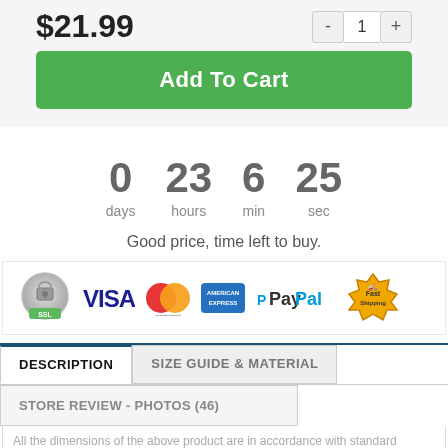$21.99
Add To Cart
0 days  23 hours  6 min  25 sec
Good price, time left to buy.
[Figure (infographic): Payment method logos: SSL badge, VISA, Mastercard, American Express, PayPal, Fast Shipping badge]
DESCRIPTION | SIZE GUIDE & MATERIAL
STORE REVIEW - PHOTOS (46)
All the dimensions of the above product are in accordance with standard clothing...